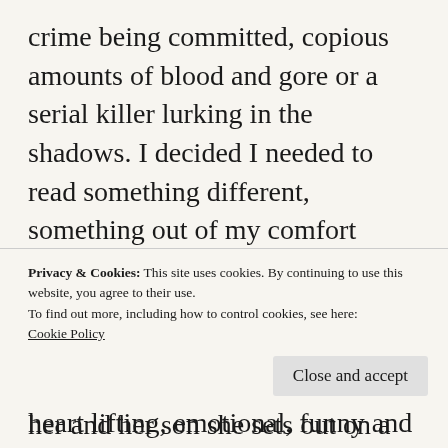crime being committed, copious amounts of blood and gore or a serial killer lurking in the shadows. I decided I needed to read something different, something out of my comfort zone, and I'm so glad I took a chance and picked up Kim Nash debut novel Amazing Grace. I absolutely adored this book, it's heart lifting, emotional, funny and captivating in equal measures.
Privacy & Cookies: This site uses cookies. By continuing to use this website, you agree to their use.
To find out more, including how to control cookies, see here: Cookie Policy
Close and accept
her and her son she sets out on a journey of